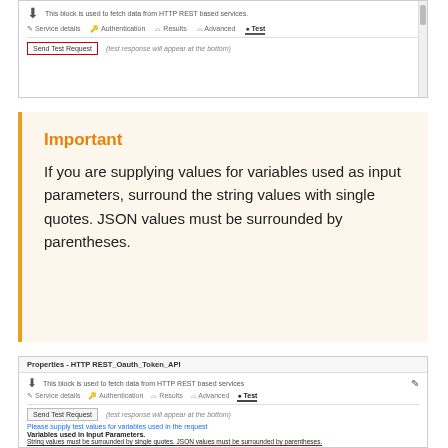[Figure (screenshot): Top portion of an HTTP REST block Properties dialog showing icon, description text, navigation tabs (Service details, Authentication, Results, Advanced, Test), and a Send Test Request button with red border, and a note about test response appearing at bottom. Scrollbar on right.]
Important

If you are supplying values for variables used as input parameters, surround the string values with single quotes. JSON values must be surrounded by parentheses.
[Figure (screenshot): Properties - HTTP REST_Oauth_Token_API dialog. Shows icon and description 'This block is used to fetch data from HTTP REST based services', pencil icon, tabs (Service details, Authentication, Results, Advanced, Test active), Send Test Request button, note about test response, blue message 'Please supply test values for variables used in the request', bold label 'Variables used in Input Parameters.' and underlined text 'String values must be surrounded by single quotes. JSON values must be surrounded by parentheses.']